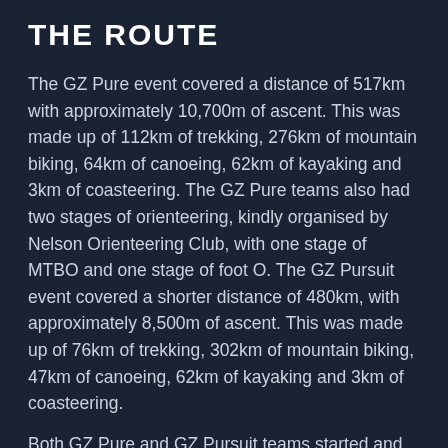THE ROUTE
The GZ Pure event covered a distance of 517km with approximately 10,700m of ascent. This was made up of 112km of trekking, 276km of mountain biking, 64km of canoeing, 62km of kayaking and 3km of coasteering. The GZ Pure teams also had two stages of orienteering, kindly organised by Nelson Orienteering Club, with one stage of MTBO and one stage of foot O. The GZ Pursuit event covered a shorter distance of 480km, with approximately 8,500m of ascent. This was made up of 76km of trekking, 302km of mountain biking, 47km of canoeing, 62km of kayaking and 3km of coasteering.
Both GZ Pure and GZ Pursuit teams started and finished their 2016 GODZone adventure in